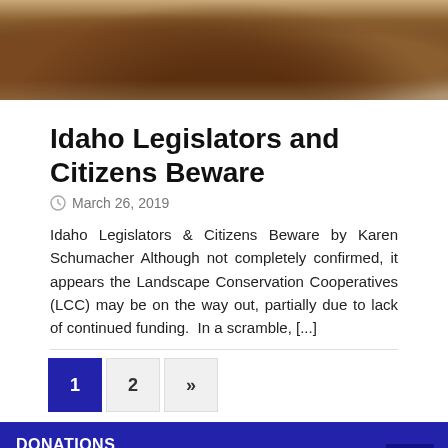[Figure (photo): Close-up photo of a large brown animal (bison or bear) with fur visible, outdoors with trees in background]
Idaho Legislators and Citizens Beware
March 26, 2019
Idaho Legislators & Citizens Beware by Karen Schumacher Although not completely confirmed, it appears the Landscape Conservation Cooperatives (LCC) may be on the way out, partially due to lack of continued funding.  In a scramble, [...]
1 2 »
DONATIONS
[Figure (logo): Redoubt News logo in blue cursive/italic script font]